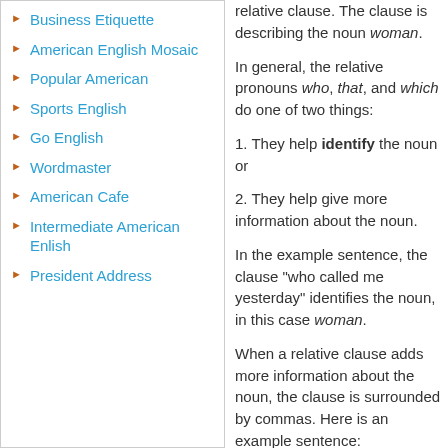Business Etiquette
American English Mosaic
Popular American
Sports English
Go English
Wordmaster
American Cafe
Intermediate American Enlish
President Address
relative clause. The clause is describing the noun woman.
In general, the relative pronouns who, that, and which do one of two things:
1. They help identify the noun or
2. They help give more information about the noun.
In the example sentence, the clause “who called me yesterday” identifies the noun, in this case woman.
When a relative clause adds more information about the noun, the clause is surrounded by commas. Here is an example sentence:
My mother, who called me yesterday, says she is